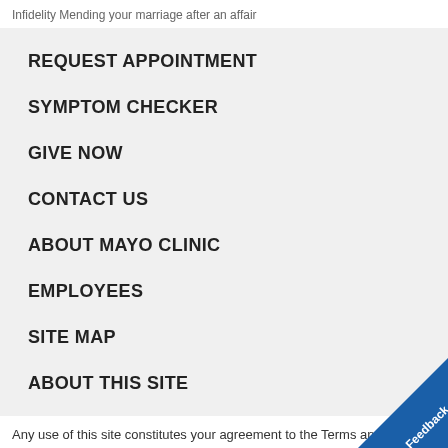Infidelity Mending your marriage after an affair
REQUEST APPOINTMENT
SYMPTOM CHECKER
GIVE NOW
CONTACT US
ABOUT MAYO CLINIC
EMPLOYEES
SITE MAP
ABOUT THIS SITE
Any use of this site constitutes your agreement to the Terms and